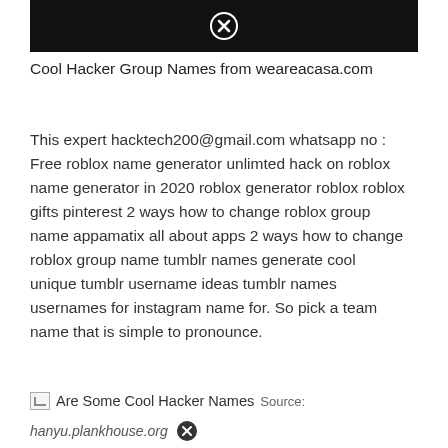[Figure (photo): Dark/black image banner with a circular close (X) button centered in it]
Cool Hacker Group Names from weareacasa.com
This expert hacktech200@gmail.com whatsapp no : Free roblox name generator unlimted hack on roblox name generator in 2020 roblox generator roblox roblox gifts pinterest 2 ways how to change roblox group name appamatix all about apps 2 ways how to change roblox group name tumblr names generate cool unique tumblr username ideas tumblr names usernames for instagram name for. So pick a team name that is simple to pronounce.
Are Some Cool Hacker Names  Source:
hanyu.plankhouse.org